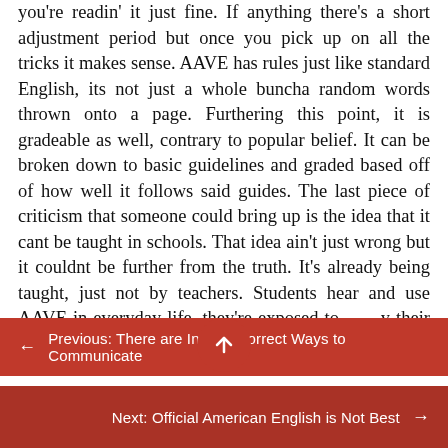you're readin' it just fine. If anything there's a short adjustment period but once you pick up on all the tricks it makes sense. AAVE has rules just like standard English, its not just a whole buncha random words thrown onto a page. Furthering this point, it is gradeable as well, contrary to popular belief. It can be broken down to basic guidelines and graded based off of how well it follows said guides. The last piece of criticism that someone could bring up is the idea that it cant be taught in schools. That idea ain't just wrong but it couldnt be further from the truth. It's already being taught, just not by teachers. Students hear and use AAVE in everyday life, they're exposed to by their friends, families,
← Previous: There are Infinite Correct Ways to Communicate
Next: Official American English is Not Best →